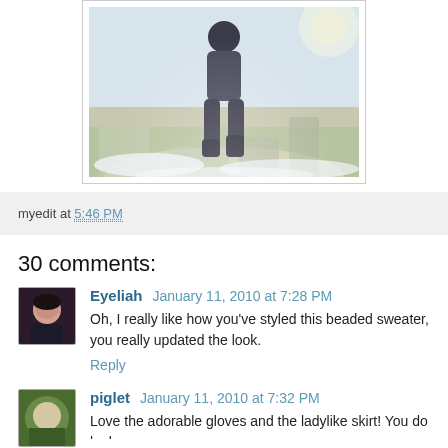[Figure (photo): A person walking in a snowy outdoor scene, wearing dark pants and boots, with dry winter vegetation in the background. Bright winter sunlight.]
myedit at 5:46 PM
30 comments:
Eyeliah January 11, 2010 at 7:28 PM
Oh, I really like how you've styled this beaded sweater, you really updated the look.
Reply
piglet January 11, 2010 at 7:32 PM
Love the adorable gloves and the ladylike skirt! You do look